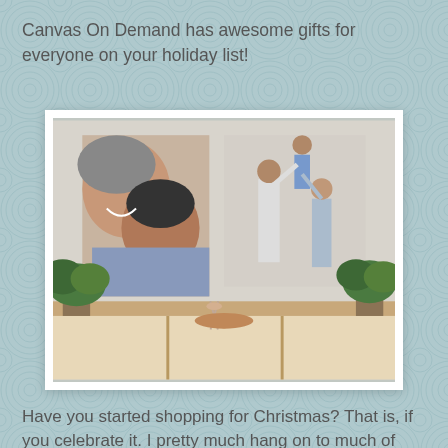Canvas On Demand has awesome gifts for everyone on your holiday list!
[Figure (photo): Two canvas photo prints displayed on a wall above a wooden shelf with plants. Left canvas shows a close-up of two people smiling/hugging. Right canvas shows a man lifting a child while a woman stands beside them. Below are potted plants and decorative items on the shelf.]
Have you started shopping for Christmas? That is, if you celebrate it. I pretty much hang on to much of what I get for reviewing, and things I've won to give for Christmas. I get